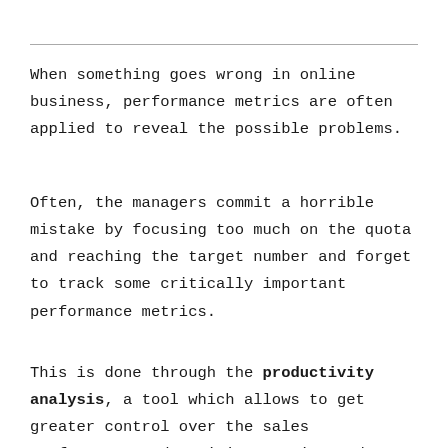When something goes wrong in online business, performance metrics are often applied to reveal the possible problems.
Often, the managers commit a horrible mistake by focusing too much on the quota and reaching the target number and forget to track some critically important performance metrics.
This is done through the productivity analysis, a tool which allows to get greater control over the sales performance and activity metrics and